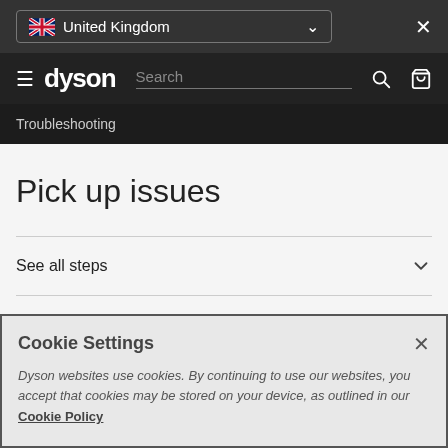[Figure (screenshot): UK flag icon in country selector]
United Kingdom
[Figure (screenshot): Dyson website navigation bar with hamburger menu, Dyson logo, search bar, search icon, and basket icon]
Troubleshooting
Pick up issues
See all steps
Cookie Settings
Dyson websites use cookies. By continuing to use our websites, you accept that cookies may be stored on your device, as outlined in our Cookie Policy